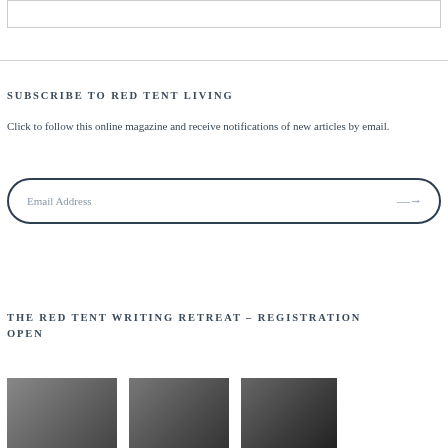[Figure (other): Partial top box/frame element, likely a search or input field from above]
SUBSCRIBE TO RED TENT LIVING
Click to follow this online magazine and receive notifications of new articles by email.
[Figure (other): Email address input field with rounded border and arrow submit button]
THE RED TENT WRITING RETREAT – REGISTRATION OPEN
[Figure (photo): Partial grayscale/black-and-white photo strip at bottom of page, showing multiple image segments separated by white gaps]